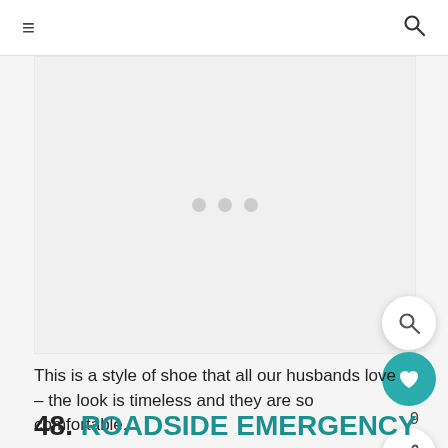≡  🔍
[Figure (photo): Image placeholder with three grey dots indicating loading content — a shoe product image]
This is a style of shoe that all our husbands love – the look is timeless and they are so comfortable.
48. ROADSIDE EMERGENCY